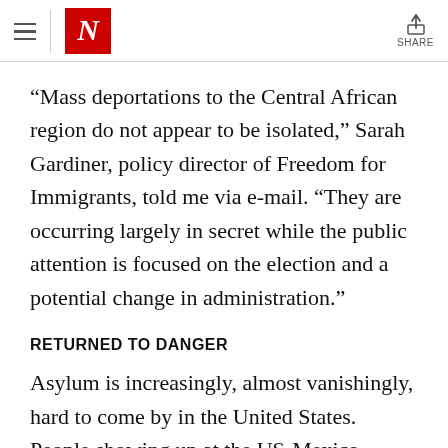The New Yorker — Navigation and Share
“Mass deportations to the Central African region do not appear to be isolated,” Sarah Gardiner, policy director of Freedom for Immigrants, told me via e-mail. “They are occurring largely in secret while the public attention is focused on the election and a potential change in administration.”
RETURNED TO DANGER
Asylum is increasingly, almost vanishingly, hard to come by in the United States. People showing up at the US-Mexico border